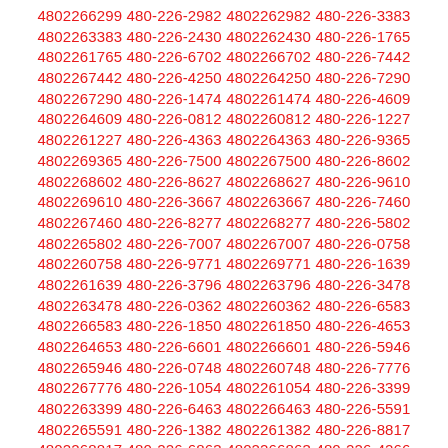4802266299 480-226-2982 4802262982 480-226-3383 4802263383 480-226-2430 4802262430 480-226-1765 4802261765 480-226-6702 4802266702 480-226-7442 4802267442 480-226-4250 4802264250 480-226-7290 4802267290 480-226-1474 4802261474 480-226-4609 4802264609 480-226-0812 4802260812 480-226-1227 4802261227 480-226-4363 4802264363 480-226-9365 4802269365 480-226-7500 4802267500 480-226-8602 4802268602 480-226-8627 4802268627 480-226-9610 4802269610 480-226-3667 4802263667 480-226-7460 4802267460 480-226-8277 4802268277 480-226-5802 4802265802 480-226-7007 4802267007 480-226-0758 4802260758 480-226-9771 4802269771 480-226-1639 4802261639 480-226-3796 4802263796 480-226-3478 4802263478 480-226-0362 4802260362 480-226-6583 4802266583 480-226-1850 4802261850 480-226-4653 4802264653 480-226-6601 4802266601 480-226-5946 4802265946 480-226-0748 4802260748 480-226-7776 4802267776 480-226-1054 4802261054 480-226-3399 4802263399 480-226-6463 4802266463 480-226-5591 4802265591 480-226-1382 4802261382 480-226-8817 4802268817 480-226-6863 4802266863 480-226-4266 4802264266 480-226-0820 4802260820 480-226-3922 4802263922 480-226-2164 4802262164 480-226-8633 4802268633 480-226-3194 4802263194 480-226-1012